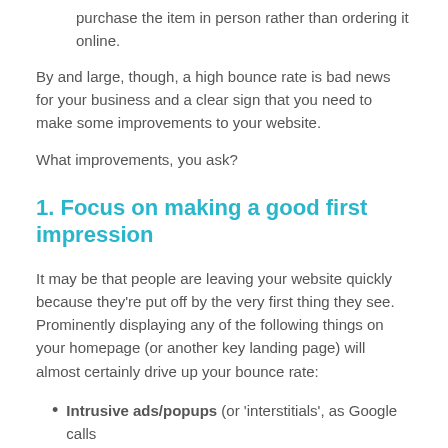purchase the item in person rather than ordering it online.
By and large, though, a high bounce rate is bad news for your business and a clear sign that you need to make some improvements to your website.
What improvements, you ask?
1. Focus on making a good first impression
It may be that people are leaving your website quickly because they're put off by the very first thing they see. Prominently displaying any of the following things on your homepage (or another key landing page) will almost certainly drive up your bounce rate:
Intrusive ads/popups (or 'interstitials', as Google calls